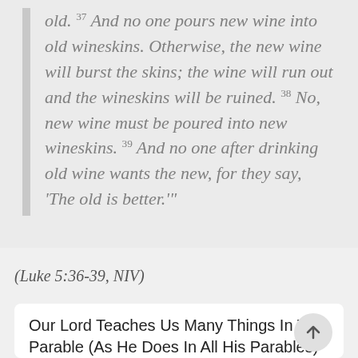old. 37 And no one pours new wine into old wineskins. Otherwise, the new wine will burst the skins; the wine will run out and the wineskins will be ruined. 38 No, new wine must be poured into new wineskins. 39 And no one after drinking old wine wants the new, for they say, ‘The old is better.’"
(Luke 5:36-39, NIV)
Our Lord Teaches Us Many Things In This Parable (As He Does In All His Parables)
Consequently, as our SIU indigenous partners often tell us after memorizing and dialoguing about this story in their